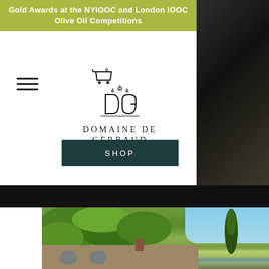Gold Awards at the NYIOOC and London IOOC Olive Oil Competitions
[Figure (logo): Shopping cart icon with '0' badge]
[Figure (logo): Domaine de Gerbaud logo with ornate DG monogram and full name below]
[Figure (illustration): Hamburger menu icon (three horizontal lines)]
SHOP
[Figure (photo): Exterior photograph of Domaine de Gerbaud estate: stone farmhouse covered in green climbing vines and ivy, tall cypress tree, blue sky with clouds]
[Figure (photo): Dark architectural element on right side and bottom dark strip]